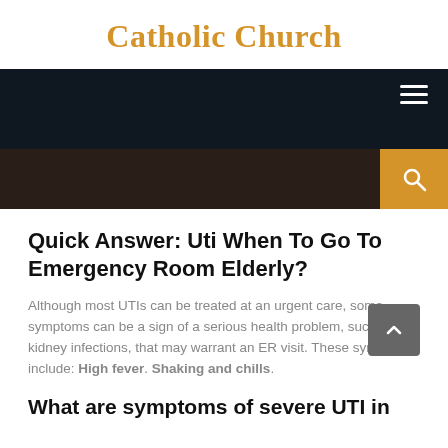Catholic Church
[Figure (screenshot): Dark navigation bar with hamburger menu icon on the right, and a dark search bar below with an orange search icon box on the right side]
Quick Answer: Uti When To Go To Emergency Room Elderly?
Although most UTIs can be treated at an urgent care, some symptoms can be a sign of a serious health problem, such as kidney infections, that may warrant an ER visit. These symptoms include: High fever. Shaking and chills.
What are symptoms of severe UTI in